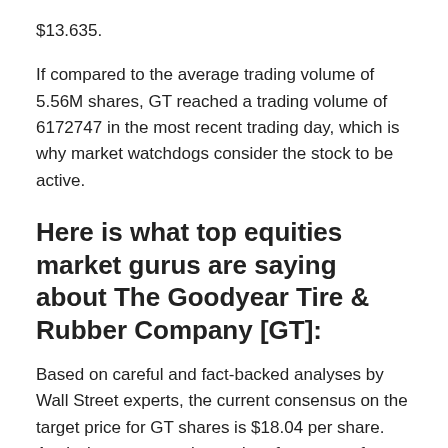$13.635.
If compared to the average trading volume of 5.56M shares, GT reached a trading volume of 6172747 in the most recent trading day, which is why market watchdogs consider the stock to be active.
Here is what top equities market gurus are saying about The Goodyear Tire & Rubber Company [GT]:
Based on careful and fact-backed analyses by Wall Street experts, the current consensus on the target price for GT shares is $18.04 per share. Analysis on target price and performance of stocks is usually carefully studied by market experts, and the current Wall Street consensus on GT stock is a recommendation set at 2.20. This rating represents a